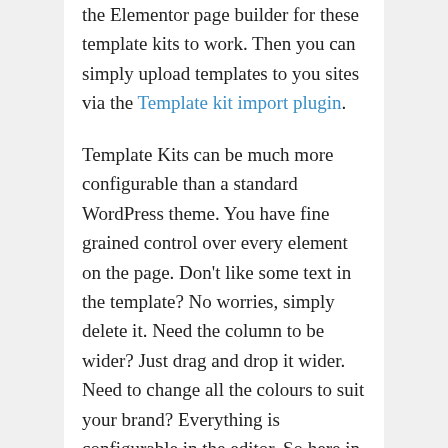the Elementor page builder for these template kits to work. Then you can simply upload templates to you sites via the Template kit import plugin.

Template Kits can be much more configurable than a standard WordPress theme. You have fine grained control over every element on the page. Don't like some text in the template? No worries, simply delete it. Need the column to be wider? Just drag and drop it wider. Need to change all the colours to suit your brand? Everything is configurable in the editor. So here in this post we've collected 20 Awesome Elementor